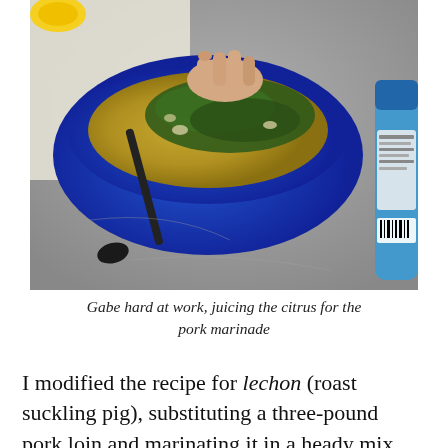[Figure (photo): A person's hands mixing green herbs and marinade in a large blue bowl on a gray countertop. A black utensil and a blue canister are also visible on the counter.]
Gabe hard at work, juicing the citrus for the pork marinade
I modified the recipe for lechon (roast suckling pig), substituting a three-pound pork loin and marinating it in a heady mix